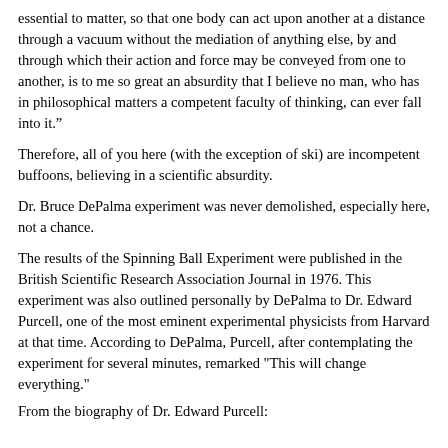essential to matter, so that one body can act upon another at a distance through a vacuum without the mediation of anything else, by and through which their action and force may be conveyed from one to another, is to me so great an absurdity that I believe no man, who has in philosophical matters a competent faculty of thinking, can ever fall into it.”
Therefore, all of you here (with the exception of ski) are incompetent buffoons, believing in a scientific absurdity.
Dr. Bruce DePalma experiment was never demolished, especially here, not a chance.
The results of the Spinning Ball Experiment were published in the British Scientific Research Association Journal in 1976. This experiment was also outlined personally by DePalma to Dr. Edward Purcell, one of the most eminent experimental physicists from Harvard at that time. According to DePalma, Purcell, after contemplating the experiment for several minutes, remarked "This will change everything."
From the biography of Dr. Edward Purcell: